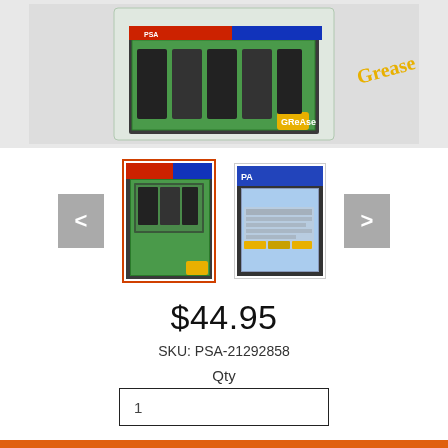[Figure (photo): Main product image showing a PSA-graded Grease trading card in a clear plastic case, displayed large at top of page]
[Figure (photo): Thumbnail of PSA-graded Grease card front, selected (orange border)]
[Figure (photo): Thumbnail of PSA-graded Grease card back]
$44.95
SKU: PSA-21292858
Qty
1